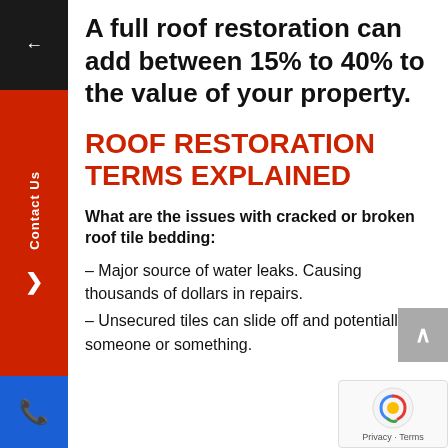A full roof restoration can add between 15% to 40% to the value of your property.
ROOF RESTORATION TERMS EXPLAINED
What are the issues with cracked or broken roof tile bedding:
– Major source of water leaks. Causing thousands of dollars in repairs.
– Unsecured tiles can slide off and potentially hurt someone or something.